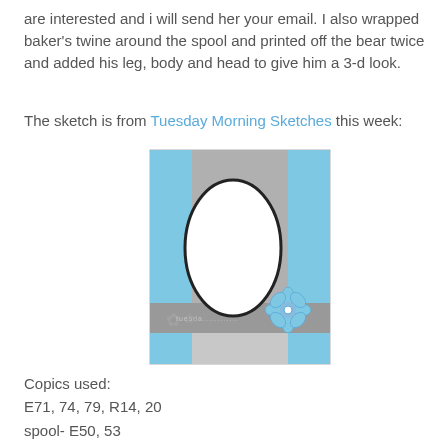are interested and i will send her your email. I also wrapped baker's twine around the spool and printed off the bear twice and added his leg, body and head to give him a 3-d look.
The sketch is from Tuesday Morning Sketches this week:
[Figure (illustration): Card sketch layout showing blue side panels, grey center column, large white oval in center, a blue flower embellishment in lower right, and grey banner strip across the bottom third.]
Copics used:
E71, 74, 79, R14, 20
spool- E50, 53
Spool Paper from Jillibean Soup, "Homemade".